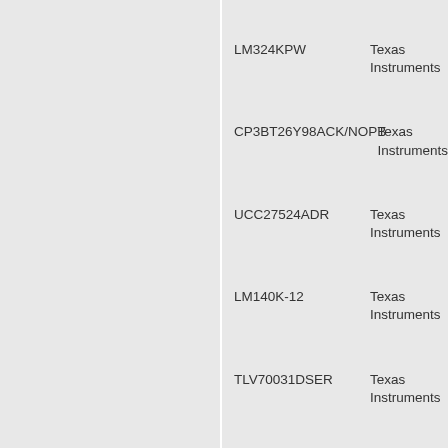LM324KPW
Texas Instruments
CP3BT26Y98ACK/NOPB
Texas Instruments
UCC27524ADR
Texas Instruments
LM140K-12
Texas Instruments
TLV70031DSER
Texas Instruments